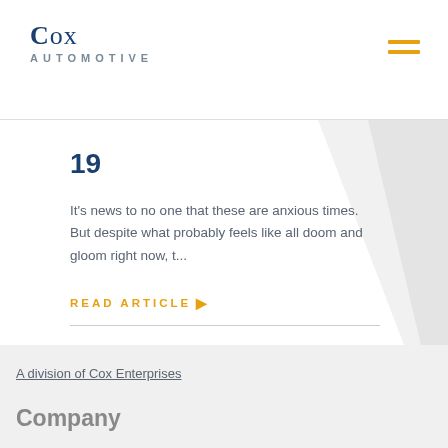[Figure (logo): Cox Automotive logo with blue serif 'COX' and grey spaced uppercase 'AUTOMOTIVE' below]
19
It's news to no one that these are anxious times. But despite what probably feels like all doom and gloom right now, t...
READ ARTICLE ›
A division of Cox Enterprises
Company